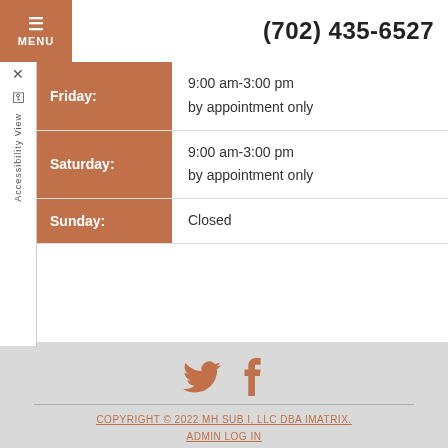MENU | (702) 435-6527
| Day | Hours |
| --- | --- |
| Friday: | 9:00 am-3:00 pm
by appointment only |
| Saturday: | 9:00 am-3:00 pm
by appointment only |
| Sunday: | Closed |
[Figure (illustration): Twitter and Facebook social media icons in orange/terracotta color]
COPYRIGHT © 2022 MH SUB I, LLC DBA IMATRIX. ADMIN LOG IN